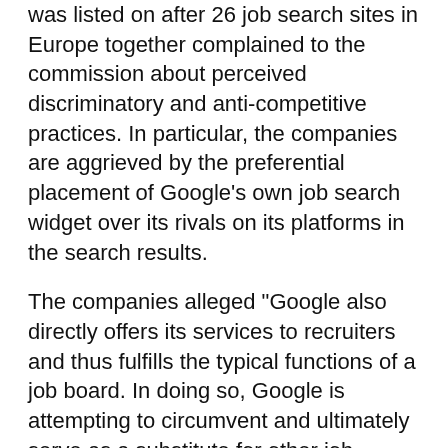was listed on after 26 job search sites in Europe together complained to the commission about perceived discriminatory and anti-competitive practices. In particular, the companies are aggrieved by the preferential placement of Google's own job search widget over its rivals on its platforms in the search results.
The companies alleged "Google also directly offers its services to recruiters and thus fulfills the typical functions of a job board. In doing so, Google is attempting to circumvent and ultimately serve as a substitute for other job boards". They prayed for an interim injunction to restrain Google from such practices while the European Commission looks into the matter and completes the probe. However, Google is not taking it lying down. A spokesperson denied the charge and stated "Any provider - from individual employers to job listing platforms - can use this feature